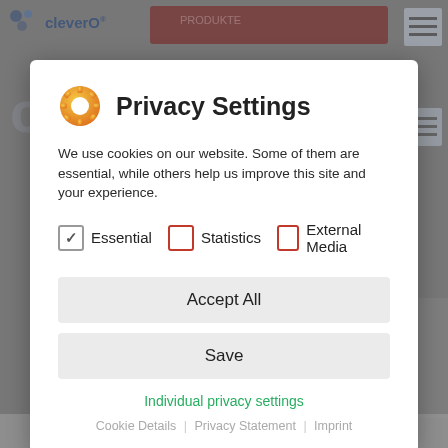[Figure (screenshot): Background website screenshot showing cleverO logo, red banner, hamburger menu, watermark text, and human figure silhouette]
Privacy Settings
We use cookies on our website. Some of them are essential, while others help us improve this site and your experience.
Essential (checked), Statistics (unchecked), External Media (unchecked)
Accept All
Save
Individual privacy settings
Cookie Details | Privacy Statement | Imprint